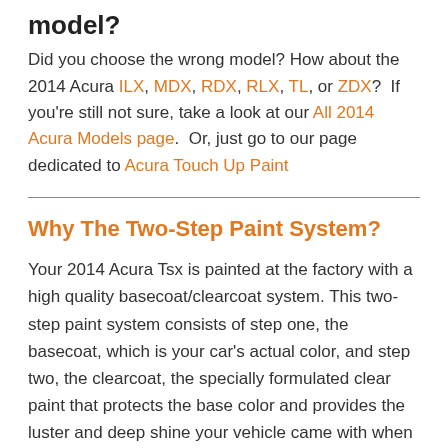model?
Did you choose the wrong model? How about the 2014 Acura ILX, MDX, RDX, RLX, TL, or ZDX?  If you're still not sure, take a look at our All 2014 Acura Models page.  Or, just go to our page dedicated to Acura Touch Up Paint
Why The Two-Step Paint System?
Your 2014 Acura Tsx is painted at the factory with a high quality basecoat/clearcoat system. This two-step paint system consists of step one, the basecoat, which is your car's actual color, and step two, the clearcoat, the specially formulated clear paint that protects the base color and provides the luster and deep shine your vehicle came with when new. AutomotiveTouchup products